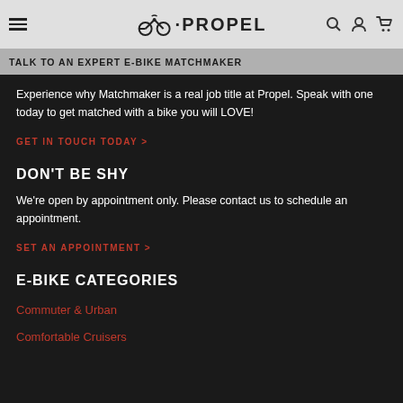PROPEL [logo with bicycle icon, search, user, cart icons]
TALK TO AN EXPERT E-BIKE MATCHMAKER
Experience why Matchmaker is a real job title at Propel. Speak with one today to get matched with a bike you will LOVE!
GET IN TOUCH TODAY >
DON'T BE SHY
We're open by appointment only. Please contact us to schedule an appointment.
SET AN APPOINTMENT >
E-BIKE CATEGORIES
Commuter & Urban
Comfortable Cruisers